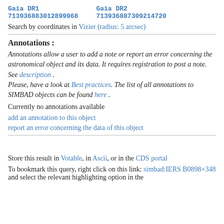Gaia DR1  713936883012899968    Gaia DR2  713936887309214720
Search by coordinates in Vizier (radius: 5 arcsec)
Annotations :
Annotations allow a user to add a note or report an error concerning the astronomical object and its data. It requires registration to post a note. See description . Please, have a look at Best practices. The list of all annotations to SIMBAD objects can be found here .
Currently no annotations available
add an annotation to this object
report an error concerning the data of this object
Store this result in Votable, in Ascii, or in the CDS portal
To bookmark this query, right click on this link: simbad:IERS B0898+348 and select the relevant highlighting option in the